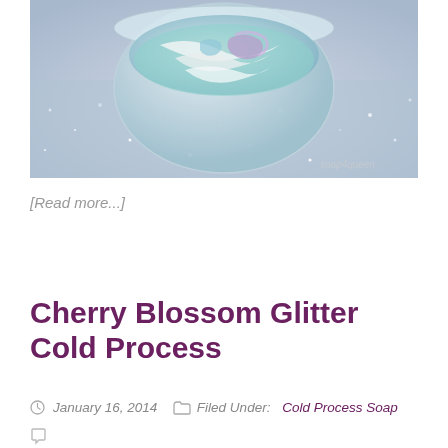[Figure (photo): Close-up photo of a jar of soap with purple and teal swirls, sitting on silver glitter, with a soap4queen watermark in the bottom right corner.]
[Read more...]
Cherry Blossom Glitter Cold Process
January 16, 2014   Filed Under: Cold Process Soap
💬